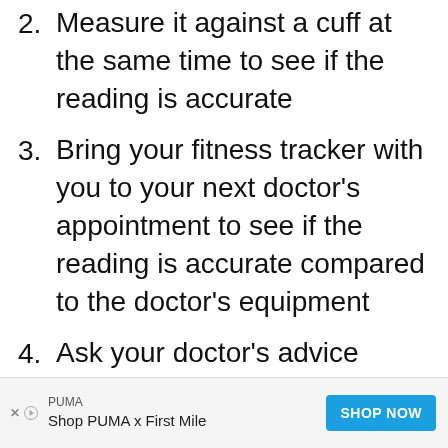2. Measure it against a cuff at the same time to see if the reading is accurate
3. Bring your fitness tracker with you to your next doctor's appointment to see if the reading is accurate compared to the doctor's equipment
4. Ask your doctor's advice about using the fitness tracker as a blood pressure monitor
[Figure (other): Advertisement banner: PUMA brand ad with text 'Shop PUMA x First Mile' and a blue 'SHOP NOW' button]